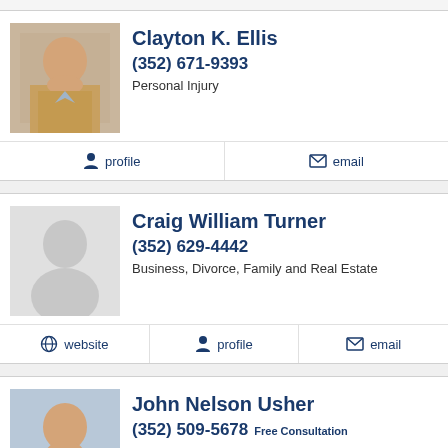[Figure (photo): Headshot photo of Clayton K. Ellis, a man in a tan suit]
Clayton K. Ellis
(352) 671-9393
Personal Injury
profile   email
[Figure (illustration): Gray silhouette placeholder image for Craig William Turner]
Craig William Turner
(352) 629-4442
Business, Divorce, Family and Real Estate
website   profile   email
[Figure (photo): Headshot photo of John Nelson Usher, a man in a blue tie]
John Nelson Usher
(352) 509-5678 Free Consultation